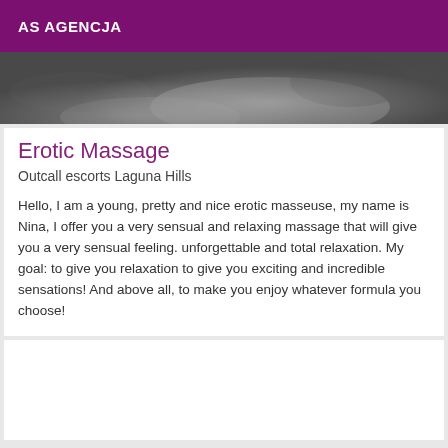AS AGENCJA
[Figure (photo): Black and white photo showing hands, likely a massage scene]
Erotic Massage
Outcall escorts Laguna Hills
Hello, I am a young, pretty and nice erotic masseuse, my name is Nina, I offer you a very sensual and relaxing massage that will give you a very sensual feeling. unforgettable and total relaxation. My goal: to give you relaxation to give you exciting and incredible sensations! And above all, to make you enjoy whatever formula you choose!